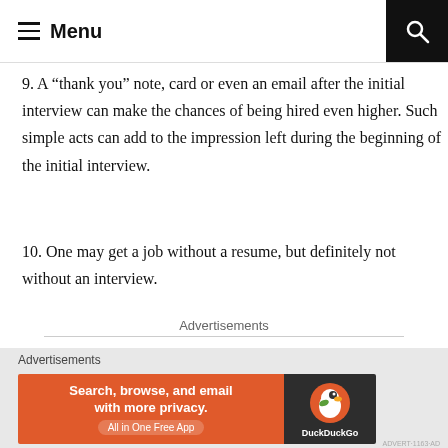Menu
9. A “thank you” note, card or even an email after the initial interview can make the chances of being hired even higher. Such simple acts can add to the impression left during the beginning of the initial interview.
10. One may get a job without a resume, but definitely not without an interview.
Advertisements
[Figure (logo): Automattic logo with stylized O]
Advertisements
[Figure (screenshot): DuckDuckGo advertisement banner: Search, browse, and email with more privacy. All in One Free App]